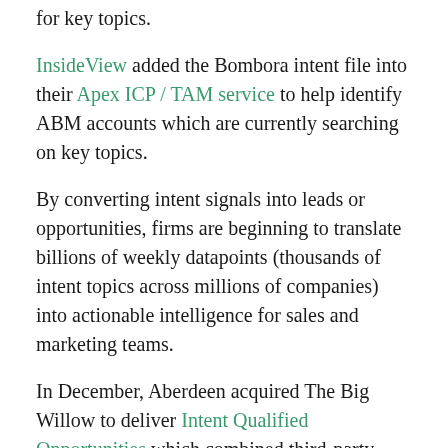for key topics.
InsideView added the Bombora intent file into their Apex ICP / TAM service to help identify ABM accounts which are currently searching on key topics.
By converting intent signals into leads or opportunities, firms are beginning to translate billions of weekly datapoints (thousands of intent topics across millions of companies) into actionable intelligence for sales and marketing teams.
In December, Aberdeen acquired The Big Willow to deliver Intent Qualified Opportunities which combined third-party intent with technographics, firmographics, content, and research.